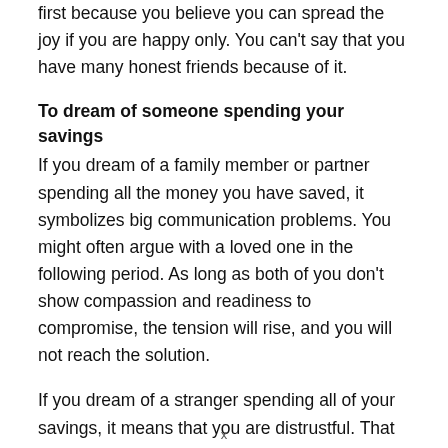first because you believe you can spread the joy if you are happy only. You can't say that you have many honest friends because of it.
To dream of someone spending your savings
If you dream of a family member or partner spending all the money you have saved, it symbolizes big communication problems. You might often argue with a loved one in the following period. As long as both of you don't show compassion and readiness to compromise, the tension will rise, and you will not reach the solution.
If you dream of a stranger spending all of your savings, it means that you are distrustful. That can be useful in your business life, but it can have a negative effect on your relationships.
x